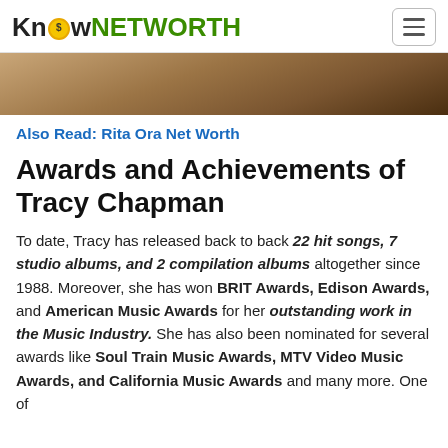KnowNETWORTH
[Figure (photo): Partial photo of Tracy Chapman, cropped showing hands/guitar area with warm brown tones]
Also Read: Rita Ora Net Worth
Awards and Achievements of Tracy Chapman
To date, Tracy has released back to back 22 hit songs, 7 studio albums, and 2 compilation albums altogether since 1988. Moreover, she has won BRIT Awards, Edison Awards, and American Music Awards for her outstanding work in the Music Industry. She has also been nominated for several awards like Soul Train Music Awards, MTV Video Music Awards, and California Music Awards and many more. One of